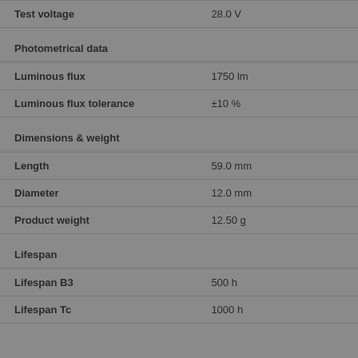| Property | Value |
| --- | --- |
| Test voltage | 28.0 V |
| Photometrical data |  |
| Luminous flux | 1750 lm |
| Luminous flux tolerance | ±10 % |
| Dimensions & weight |  |
| Length | 59.0 mm |
| Diameter | 12.0 mm |
| Product weight | 12.50 g |
| Lifespan |  |
| Lifespan B3 | 500 h |
| Lifespan Tc | 1000 h |